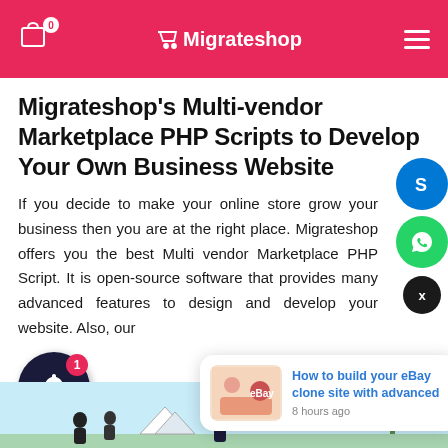Migrateshop — Navigation header with cart icon (0 items), Migrateshop logo, and hamburger menu
Migrateshop's Multi-vendor Marketplace PHP Scripts to Develop Your Own Business Website
If you decide to make your online store grow your business then you are at the right place. Migrateshop offers you the best Multi vendor Marketplace PHP Script. It is open-source software that provides many advanced features to design and develop your website. Also, our
more ›
[Figure (screenshot): Bottom section showing a partial website screenshot with light blue background, silhouettes of people, and a partial red arrow element]
How to build your eBay clone site with advanced
8 hours ago